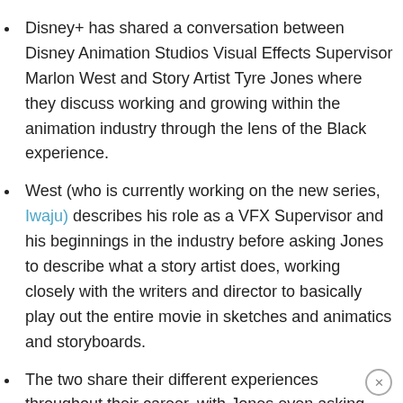Disney+ has shared a conversation between Disney Animation Studios Visual Effects Supervisor Marlon West and Story Artist Tyre Jones where they discuss working and growing within the animation industry through the lens of the Black experience.
West (who is currently working on the new series, Iwaju) describes his role as a VFX Supervisor and his beginnings in the industry before asking Jones to describe what a story artist does, working closely with the writers and director to basically play out the entire movie in sketches and animatics and storyboards.
The two share their different experiences throughout their career, with Jones even asking West about his experiences switching from 2D Hand Drawn animation to 3D Computer Animation.